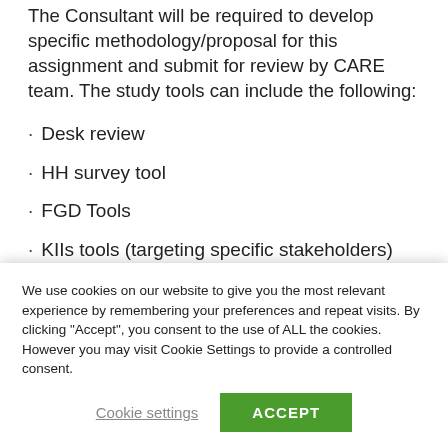The Consultant will be required to develop specific methodology/proposal for this assignment and submit for review by CARE team. The study tools can include the following:
· Desk review
· HH survey tool
· FGD Tools
· KIIs tools (targeting specific stakeholders)
We use cookies on our website to give you the most relevant experience by remembering your preferences and repeat visits. By clicking "Accept", you consent to the use of ALL the cookies. However you may visit Cookie Settings to provide a controlled consent.